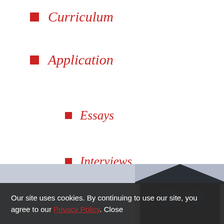Curriculum
Application
Essays
Interviews
Why Berkeley Haas?
Useful Links
[Figure (photo): Exterior photo of a building with a peaked roof, shown in dark tones, partially visible at the bottom of the page]
Our site uses cookies. By continuing to use our site, you agree to our Privacy Policy. Close